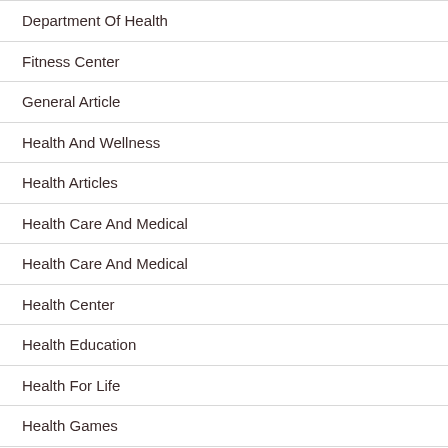Department Of Health
Fitness Center
General Article
Health And Wellness
Health Articles
Health Care And Medical
Health Care And Medical
Health Center
Health Education
Health For Life
Health Games
Health Insurance
Health Journal